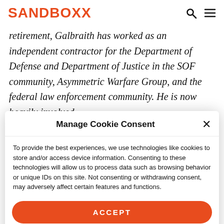SANDBOXX
retirement, Galbraith has worked as an independent contractor for the Department of Defense and Department of Justice in the SOF community, Asymmetric Warfare Group, and the federal law enforcement community. He is now heavily involved
Manage Cookie Consent
To provide the best experiences, we use technologies like cookies to store and/or access device information. Consenting to these technologies will allow us to process data such as browsing behavior or unique IDs on this site. Not consenting or withdrawing consent, may adversely affect certain features and functions.
ACCEPT
Opt-out preferences   Privacy Policy